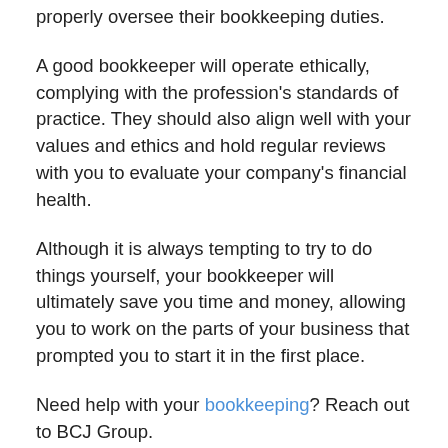properly oversee their bookkeeping duties.
A good bookkeeper will operate ethically, complying with the profession's standards of practice. They should also align well with your values and ethics and hold regular reviews with you to evaluate your company's financial health.
Although it is always tempting to try to do things yourself, your bookkeeper will ultimately save you time and money, allowing you to work on the parts of your business that prompted you to start it in the first place.
Need help with your bookkeeping? Reach out to BCJ Group.